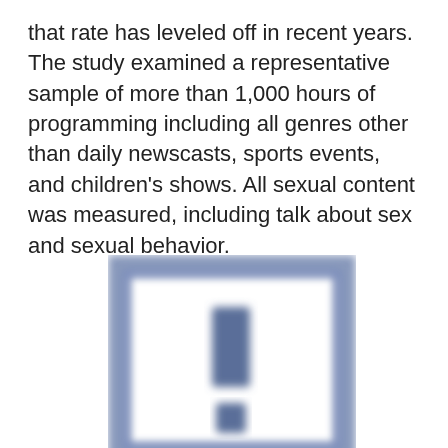that rate has leveled off in recent years. The study examined a representative sample of more than 1,000 hours of programming including all genres other than daily newscasts, sports events, and children's shows. All sexual content was measured, including talk about sex and sexual behavior.
[Figure (other): A blurred or obscured image placeholder showing a blue-bordered frame with two indistinct rectangular shapes in the center, suggesting a redacted or loading image.]